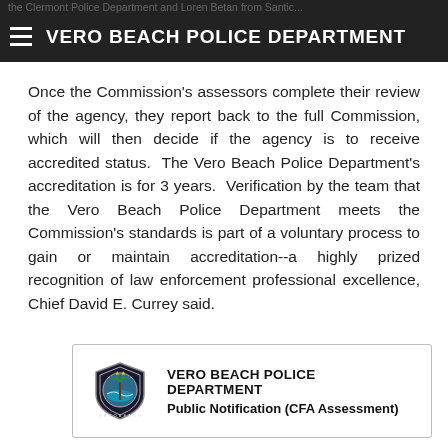VERO BEACH POLICE DEPARTMENT
Once the Commission's assessors complete their review of the agency, they report back to the full Commission, which will then decide if the agency is to receive accredited status. The Vero Beach Police Department's accreditation is for 3 years. Verification by the team that the Vero Beach Police Department meets the Commission's standards is part of a voluntary process to gain or maintain accreditation--a highly prized recognition of law enforcement professional excellence, Chief David E. Currey said.
[Figure (logo): Vero Beach Police Department shield/badge logo with text VERO BEACH POLICE DEPARTMENT and Public Notification (CFA Assessment) below]
VERO BEACH POLICE DEPARTMENT
Public Notification (CFA Assessment)